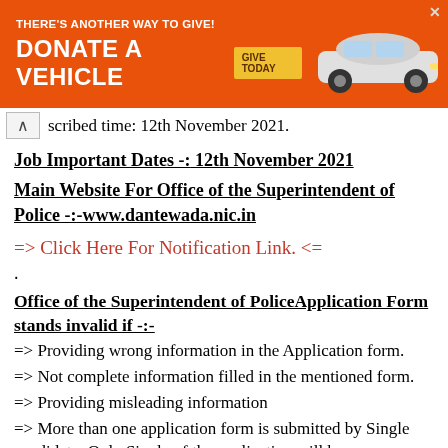[Figure (other): Orange advertisement banner: THERE'S ANOTHER WAY TO GIVE! DONATE A VEHICLE with GIVE TODAY button and car image]
scribed time: 12th November 2021.
Job Important Dates -: 12th November 2021
Main Website For Office of the Superintendent of Police -:-www.dantewada.nic.in
=> Click Here For Notification Link. <=
.
Office of the Superintendent of PoliceApplication Form stands invalid if -:-
=> Providing wrong information in the Application form.
=> Not complete information filled in the mentioned form.
=> Providing misleading information
=> More than one application form is submitted by Single candidate. Only Single of the application will b